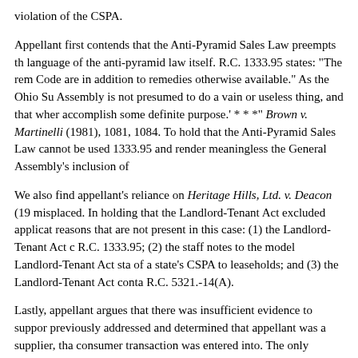violation of the CSPA.
Appellant first contends that the Anti-Pyramid Sales Law preempts th language of the anti-pyramid law itself. R.C. 1333.95 states: "The rem Code are in addition to remedies otherwise available." As the Ohio Su Assembly is not presumed to do a vain or useless thing, and that wher accomplish some definite purpose.' * * *" Brown v. Martinelli (1981), 1081, 1084. To hold that the Anti-Pyramid Sales Law cannot be used 1333.95 and render meaningless the General Assembly's inclusion of
We also find appellant's reliance on Heritage Hills, Ltd. v. Deacon (19 misplaced. In holding that the Landlord-Tenant Act excluded applicat reasons that are not present in this case: (1) the Landlord-Tenant Act c R.C. 1333.95; (2) the staff notes to the model Landlord-Tenant Act sta of a state's CSPA to leaseholds; and (3) the Landlord-Tenant Act conta R.C. 5321.-14(A).
Lastly, appellant argues that there was insufficient evidence to suppor previously addressed and determined that appellant was a supplier, tha consumer transaction was entered into. The only question remaining i deceptive practice. In State v. Guinn, the Supreme Court stated that "* forces behind such [pyramidal] programs * * *." Id., 42 Ohio St.3d at sales case we have reviewed has used language of a similar nature. Th legislature enacted the law. Furthermore, Mrs. Blankenship testified th activity when it plainly was not, which fulfills the requirement of a de discretion in finding that sufficient evidence was presented to support